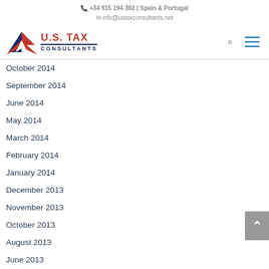+34 915 194 392 | Spain & Portugal
info@ustaxconsultants.net
[Figure (logo): U.S. Tax Consultants logo with red and navy star graphic and company name]
October 2014
September 2014
June 2014
May 2014
March 2014
February 2014
January 2014
December 2013
November 2013
October 2013
August 2013
June 2013
May 2013